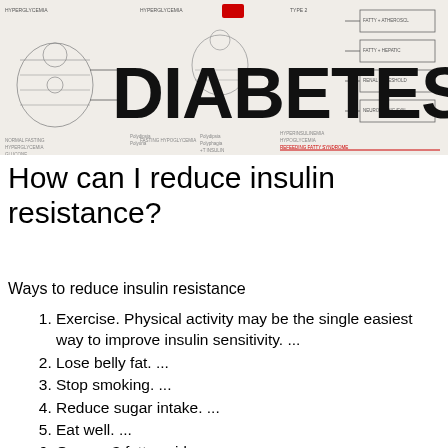[Figure (schematic): Medical diagram showing diabetes-related physiology with illustrations of organs, text annotations, and a large bold 'DIABETES' text overlay in black with red accent on a background of handwritten-style medical schematic diagrams.]
How can I reduce insulin resistance?
Ways to reduce insulin resistance
Exercise. Physical activity may be the single easiest way to improve insulin sensitivity. ...
Lose belly fat. ...
Stop smoking. ...
Reduce sugar intake. ...
Eat well. ...
Omega-3 fatty acids. ...